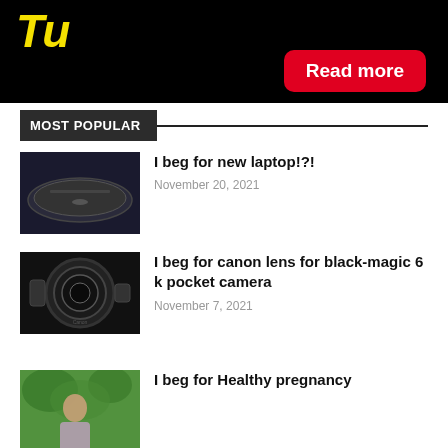[Figure (screenshot): Black banner with yellow italic bold text partially visible (looks like a blog/website title) and a red 'Read more' button in the bottom right]
MOST POPULAR
[Figure (photo): Dark laptop computer lying flat on a surface]
I beg for new laptop!?!
November 20, 2021
[Figure (photo): Canon camera lens (zoom lens) on white background]
I beg for canon lens for black-magic 6 k pocket camera
November 7, 2021
[Figure (photo): Person outdoors among green foliage, partially cropped]
I beg for Healthy pregnancy